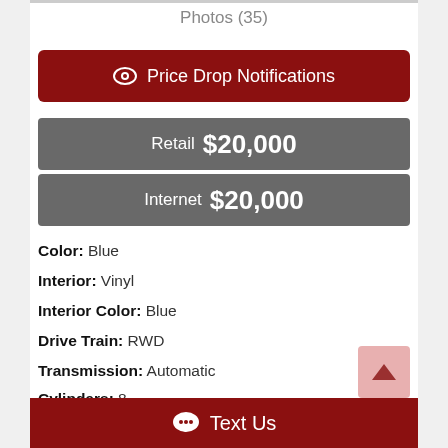Photos (35)
Price Drop Notifications
Retail $20,000
Internet $20,000
Color: Blue
Interior: Vinyl
Interior Color: Blue
Drive Train: RWD
Transmission: Automatic
Cylinders: 8
Vin: 3F03H202566
Text Us